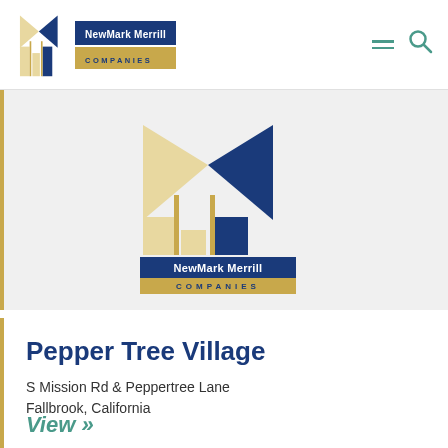[Figure (logo): NewMark Merrill Companies logo in navigation bar — geometric building/columns icon in navy and tan, with brand name in navy box and COMPANIES in gold box]
[Figure (logo): Large NewMark Merrill Companies logo centered in gray hero section — same geometric icon larger scale with navy and tan colors, brand name and COMPANIES text boxes below]
Pepper Tree Village
S Mission Rd & Peppertree Lane
Fallbrook, California
View »